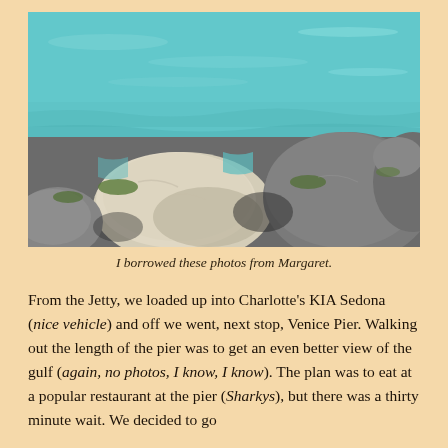[Figure (photo): Coastal scene showing large rocks and boulders with teal/blue water in the background. The rocks are gray and beige with some green algae, photographed at a jetty or breakwater.]
I borrowed these photos from Margaret.
From the Jetty, we loaded up into Charlotte's KIA Sedona (nice vehicle) and off we went, next stop, Venice Pier. Walking out the length of the pier was to get an even better view of the gulf (again, no photos, I know, I know). The plan was to eat at a popular restaurant at the pier (Sharkys), but there was a thirty minute wait. We decided to go